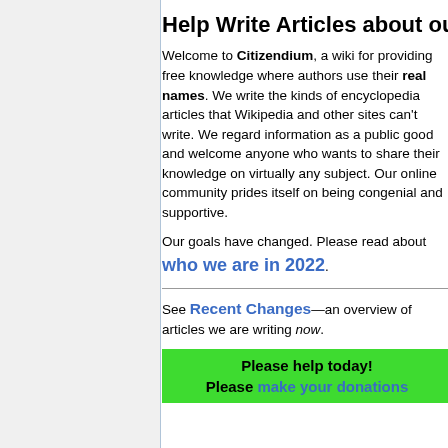Help Write Articles about our Wor...
Welcome to Citizendium, a wiki for providing free knowledge where authors use their real names. We write the kinds of encyclopedia articles that Wikipedia and other sites can't write. We regard information as a public good and welcome anyone who wants to share their knowledge on virtually any subject. Our online community prides itself on being congenial and supportive.
Our goals have changed. Please read about who we are in 2022.
See Recent Changes—an overview of articles we are writing now.
Please help today! Please make your donations